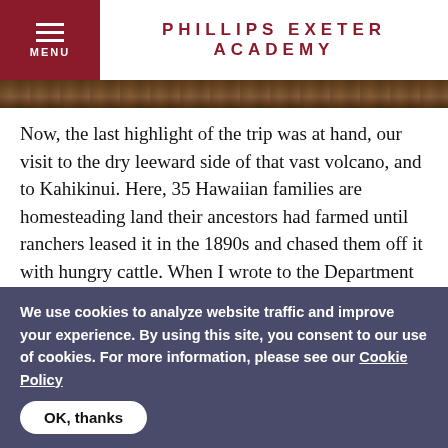PHILLIPS EXETER ACADEMY
[Figure (photo): Partial photo strip showing outdoor scene, likely rocky or natural terrain]
Now, the last highlight of the trip was at hand, our visit to the dry leeward side of that vast volcano, and to Kahikinui. Here, 35 Hawaiian families are homesteading land their ancestors had farmed until ranchers leased it in the 1890s and chased them off it with hungry cattle. When I wrote to the Department of Hawaiian Homelands before the trip to request permission to visit some of the archeological sites in the Kahikinui area, a helpful government worker had put me in touch with Charmaine Day, who is the
We use cookies to analyze website traffic and improve your experience. By using this site, you consent to our use of cookies. For more information, please see our Cookie Policy
OK, thanks